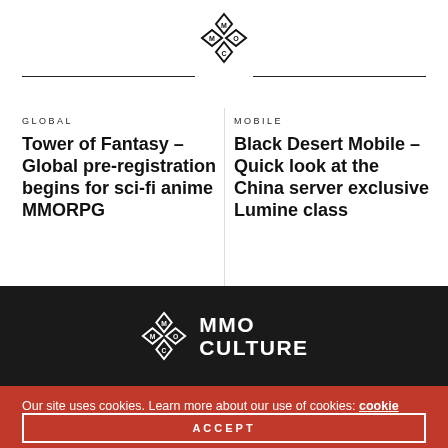[Figure (logo): MMO Culture diamond logo mark at top center of page header]
GLOBAL
Tower of Fantasy – Global pre-registration begins for sci-fi anime MMORPG
MOBILE
Black Desert Mobile – Quick look at the China server exclusive Lumine class
[Figure (logo): MMO Culture logo with diamond icon and white text MMO CULTURE on dark background]
Our site uses cookies. Learn more about our use of cookies: cookie policy
ACCEPT